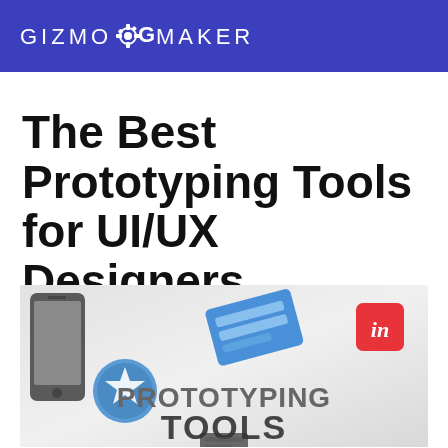GIZMO G MAKER
The Best Prototyping Tools for UI/UX Designers
[Figure (illustration): Promotional illustration showing a smartphone, a blue circular rocket logo, a blue UI card graphic, a red 'in' square (InVision logo), and text reading 'PROTOTYPING TOOLS' on a light gray background.]